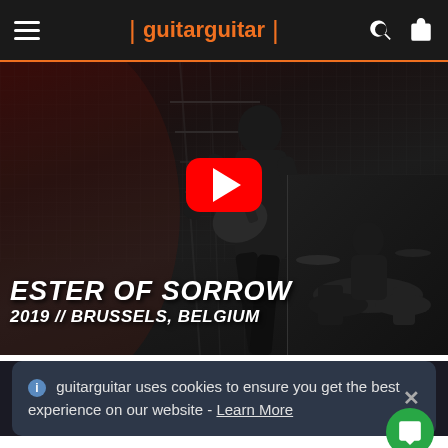guitarguitar
[Figure (screenshot): YouTube video thumbnail showing a guitarist performing on stage with text overlay 'ESTER OF SORROW 2019 // BRUSSELS, BELGIUM' and a YouTube play button in the center]
guitarguitar uses cookies to ensure you get the best experience on our website - Learn More
The Outlaw Torn